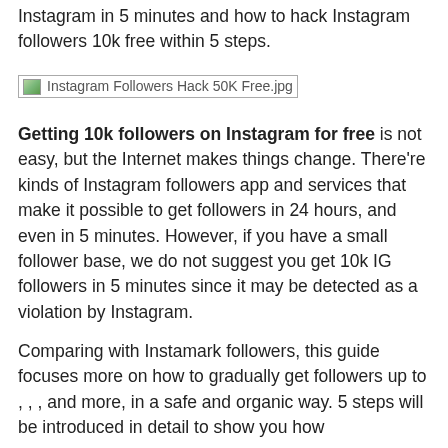Instagram in 5 minutes and how to hack Instagram followers 10k free within 5 steps.
[Figure (photo): Broken image placeholder labeled 'Instagram Followers Hack 50K Free.jpg']
Getting 10k followers on Instagram for free is not easy, but the Internet makes things change. There’re kinds of Instagram followers app and services that make it possible to get followers in 24 hours, and even in 5 minutes. However, if you have a small follower base, we do not suggest you get 10k IG followers in 5 minutes since it may be detected as a violation by Instagram.
Comparing with Instamark followers, this guide focuses more on how to gradually get followers up to , , , and more, in a safe and organic way. 5 steps will be introduced in detail to show you how